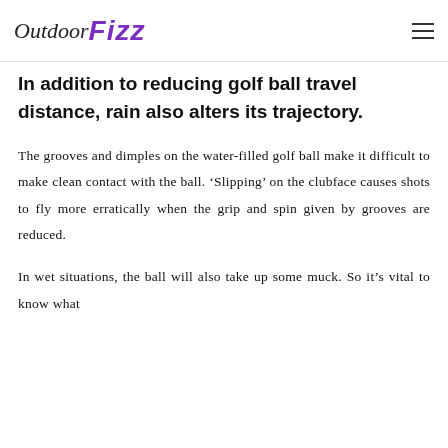OutdoorFizz
In addition to reducing golf ball travel distance, rain also alters its trajectory.
The grooves and dimples on the water-filled golf ball make it difficult to make clean contact with the ball. ‘Slipping’ on the clubface causes shots to fly more erratically when the grip and spin given by grooves are reduced.
In wet situations, the ball will also take up some muck. So it’s vital to know what